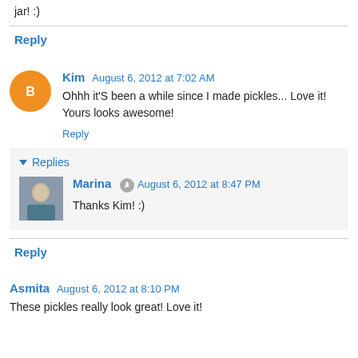jar! :)
Reply
Kim August 6, 2012 at 7:02 AM
Ohhh it'S been a while since I made pickles... Love it! Yours looks awesome!
Reply
Replies
Marina August 6, 2012 at 8:47 PM
Thanks Kim! :)
Reply
Asmita August 6, 2012 at 8:10 PM
These pickles really look great! Love it!